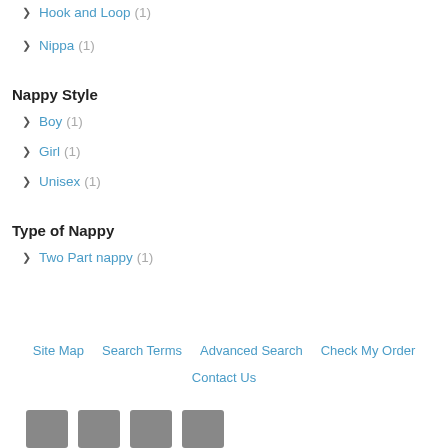Hook and Loop (1)
Nippa (1)
Nappy Style
Boy (1)
Girl (1)
Unisex (1)
Type of Nappy
Two Part nappy (1)
Site Map   Search Terms   Advanced Search   Check My Order   Contact Us